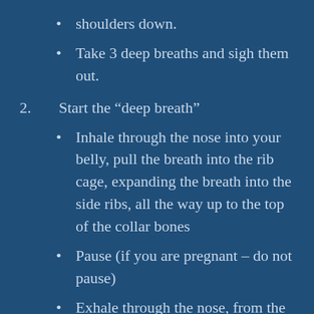shoulders down.
Take 3 deep breaths and sigh them out.
2. Start the “deep breath”
Inhale through the nose into your belly, pull the breath into the rib cage, expanding the breath into the side ribs, all the way up to the top of the collar bones
Pause (if you are pregnant – do not pause)
Exhale through the nose, from the chest down to the belly
Pull the belly down towards the